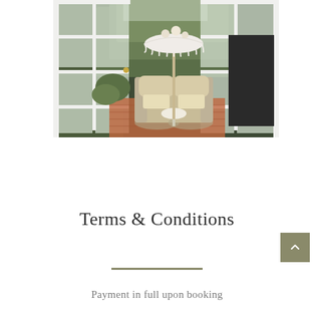[Figure (photo): A garden courtyard viewed through open white French doors. Two beige wicker wingback chairs sit on a brick patio around a small white round table, with a white fringed patio umbrella in the center. The background shows a tall dark hedge wall with greenery and white flowers.]
Terms & Conditions
Payment in full upon booking